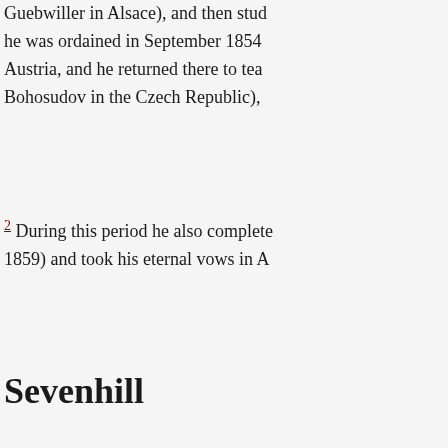Guebwiller in Alsace), and then stud... he was ordained in September 1854... Austria, and he returned there to tea... Bohosudov in the Czech Republic), ...
2 During this period he also complete... 1859) and took his eternal vows in A...
Sevenhill
Strele arrived in Australia from Londo... filling a range of offices at the Seven... philosophy and theology. He became... mission (1870 - 1873), rector of the c... superior again (October 1880- 1882)... golden chalice inscribed 'Optimo Re... Aloysius church, a residence at Geo... Hill River. 5 In the 1860s Sevenhill Je... Australia as far north as Port Pirie a... priests were planning to commence... Reductions in Paraguay, and Strele...